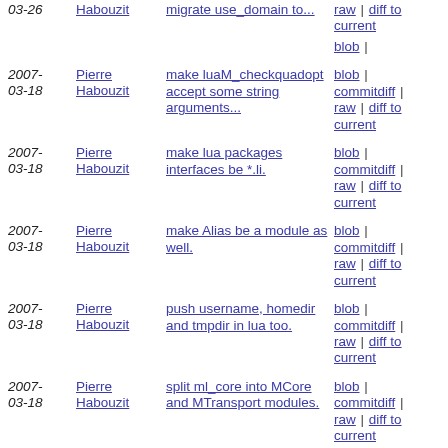2007-03-26 | Habouzit | migrate use_domain to... | blob | commitdiff | raw | diff to current
2007-03-18 | Pierre Habouzit | make luaM_checkquadopt accept some string arguments... | blob | commitdiff | raw | diff to current
2007-03-18 | Pierre Habouzit | make lua packages interfaces be *.li. | blob | commitdiff | raw | diff to current
2007-03-18 | Pierre Habouzit | make Alias be a module as well. | blob | commitdiff | raw | diff to current
2007-03-18 | Pierre Habouzit | push username, homedir and tmpdir in lua too. | blob | commitdiff | raw | diff to current
2007-03-18 | Pierre Habouzit | split ml_core into MCore and MTransport modules. | blob | commitdiff | raw | diff to current
2007- | Pierre | lua improvements... | blob | commitdiff